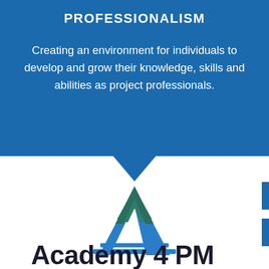PROFESSIONALISM
Creating an environment for individuals to develop and grow their knowledge, skills and abilities as project professionals.
[Figure (logo): Academy 4 PM logo — two overlapping triangular chevron shapes, one in teal/dark green and one in blue, arranged to form an abstract 'A' shape with horizontal stripes at the base]
Academy 4 PM